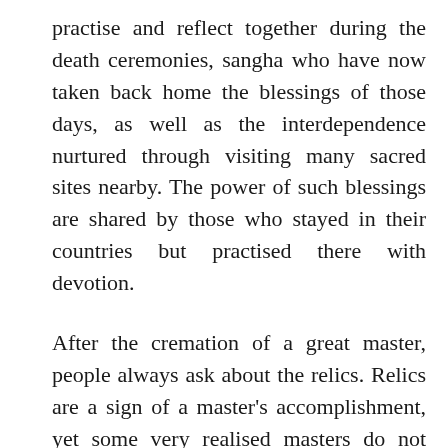practise and reflect together during the death ceremonies, sangha who have now taken back home the blessings of those days, as well as the interdependence nurtured through visiting many sacred sites nearby. The power of such blessings are shared by those who stayed in their countries but practised there with devotion.
After the cremation of a great master, people always ask about the relics. Relics are a sign of a master's accomplishment, yet some very realised masters do not leave any behind. Through Rinpoche's great compassion, however, he left many relics. Just as his brilliant